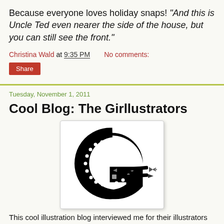Because everyone loves holiday snaps! "And this is Uncle Ted even nearer the side of the house, but you can still see the front."
Christina Wald at 9:35 PM    No comments:
Share
Tuesday, November 1, 2011
Cool Blog: The Girllustrators
[Figure (logo): Girllustrators logo: a stylized letter G made of a thick black circle with white dots along the inside edge, with pencils/brushes forming the horizontal bar of the G]
This cool illustration blog interviewed me for their illustrators